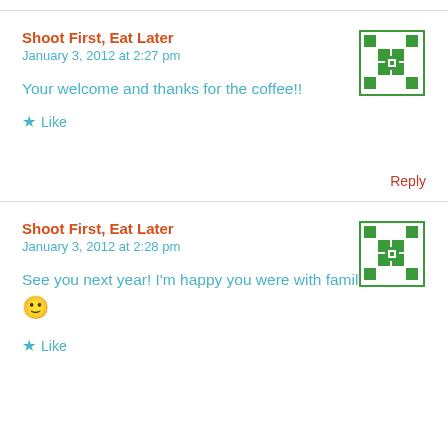Shoot First, Eat Later
January 3, 2012 at 2:27 pm
Your welcome and thanks for the coffee!!
★ Like
Reply
Shoot First, Eat Later
January 3, 2012 at 2:28 pm
See you next year! I'm happy you were with family 🙂
★ Like